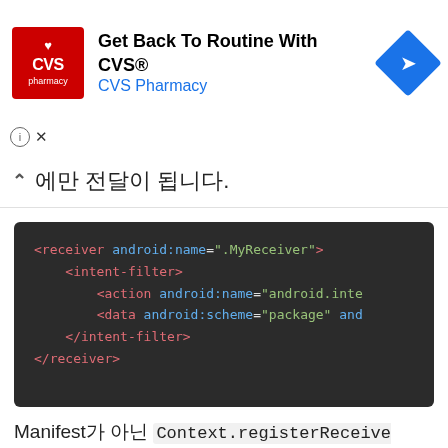[Figure (infographic): CVS Pharmacy advertisement banner with red CVS logo, ad title 'Get Back To Routine With CVS®', subtitle 'CVS Pharmacy', blue navigation arrow icon, and ad info/close controls]
에만 전달이 됩니다.
[Figure (screenshot): Android XML code block on dark background showing receiver and intent-filter XML tags with android:name and android:scheme attributes]
Manifest가 아닌 Context.registerReceiver() 로 리시버를 등록한다면 다음과 같이 IntentFilter 객체를 생성할 수 있습니다. SSR를 설정할 때 ad